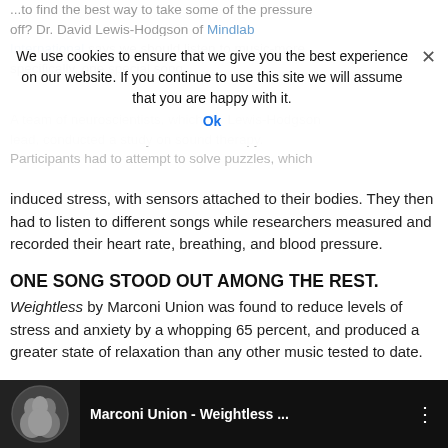...to find the best way to take some of the pressure off? Dr. David Lewis-Hodgson of Mindlab International says we should listen to music-more specifically, one special song.
We use cookies to ensure that we give you the best experience on our website. If you continue to use this site we will assume that you are happy with it. Ok
A team of neuroscientists, which Dr. Lewis-Hodgson lead, conducted a study on sound therapy. Participants had to attempt to solve puzzles, which induced stress, with sensors attached to their bodies. They then had to listen to different songs while researchers measured and recorded their heart rate, breathing, and blood pressure.
ONE SONG STOOD OUT AMONG THE REST.
Weightless by Marconi Union was found to reduce levels of stress and anxiety by a whopping 65 percent, and produced a greater state of relaxation than any other music tested to date.
“‘Weightless’ was so effective, many women became drowsy and I would advise against driving while listening to the song because it could be dangerous,” said Dr. David Lewis-Hodgson.
[Figure (screenshot): YouTube video thumbnail for Marconi Union - Weightless with dark background, profile image of singers, and three-dot menu icon]